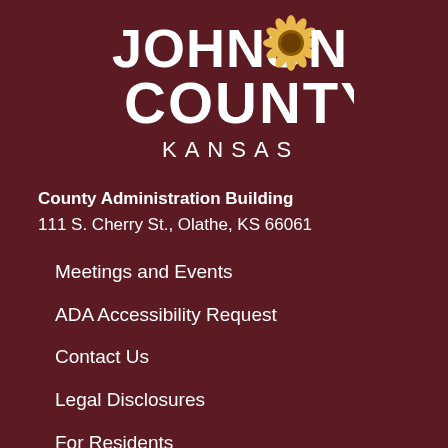[Figure (logo): Johnson County Kansas logo with sunflower replacing the O in Johnson, white text on dark red background]
County Administration Building
111 S. Cherry St., Olathe, KS 66061
Meetings and Events
ADA Accessibility Request
Contact Us
Legal Disclosures
For Residents
For Businesses